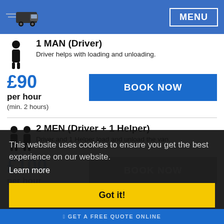MENU
1 MAN (Driver)
Driver helps with loading and unloading.
£90
per hour
(min. 2 hours)
BOOK NOW
2 MEN (Driver + 1 Helper)
Driver and 1 Helper load and unload the van.
This website uses cookies to ensure you get the best experience on our website.
Learn more
Got it!
GET A FREE QUOTE ONLINE